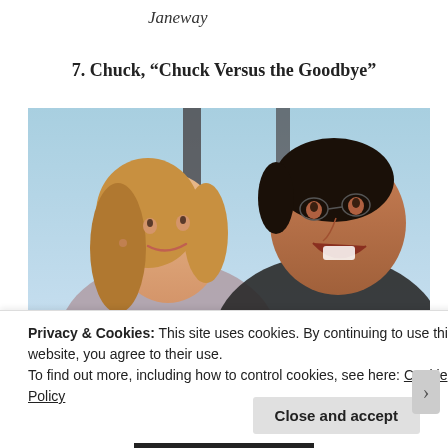Janeway
7. Chuck, “Chuck Versus the Goodbye”
[Figure (photo): A smiling blonde woman and a laughing dark-haired man outdoors against a light blue sky background.]
Privacy & Cookies: This site uses cookies. By continuing to use this website, you agree to their use.
To find out more, including how to control cookies, see here: Cookie Policy
Close and accept